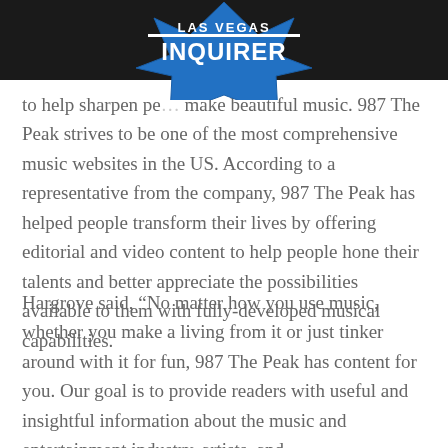LAS VEGAS INQUIRER
to help sharpen pe... make beautiful music. 987 The Peak strives to be one of the most comprehensive music websites in the US. According to a representative from the company, 987 The Peak has helped people transform their lives by offering editorial and video content to help people hone their talents and better appreciate the possibilities available to them with fully-developed musical capabilities.
Hargrove said, “No matter how you use music, whether you make a living from it or just tinker around with it for fun, 987 The Peak has content for you. Our goal is to provide readers with useful and insightful information about the music and entertainment industry, artists, and